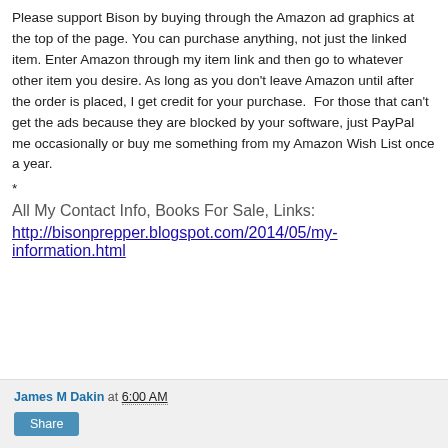Please support Bison by buying through the Amazon ad graphics at the top of the page. You can purchase anything, not just the linked item. Enter Amazon through my item link and then go to whatever other item you desire. As long as you don't leave Amazon until after the order is placed, I get credit for your purchase.  For those that can't get the ads because they are blocked by your software, just PayPal me occasionally or buy me something from my Amazon Wish List once a year.
*
All My Contact Info, Books For Sale, Links:
http://bisonprepper.blogspot.com/2014/05/my-information.html
James M Dakin at 6:00 AM  Share